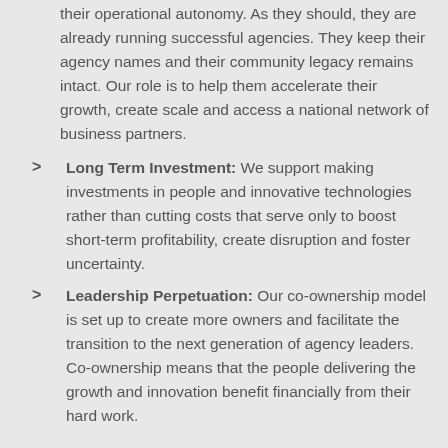their operational autonomy. As they should, they are already running successful agencies. They keep their agency names and their community legacy remains intact. Our role is to help them accelerate their growth, create scale and access a national network of business partners.
Long Term Investment: We support making investments in people and innovative technologies rather than cutting costs that serve only to boost short-term profitability, create disruption and foster uncertainty.
Leadership Perpetuation: Our co-ownership model is set up to create more owners and facilitate the transition to the next generation of agency leaders. Co-ownership means that the people delivering the growth and innovation benefit financially from their hard work.
The choice of a partner is not a one-size fits all proposition; be sure to prioritize what is important to